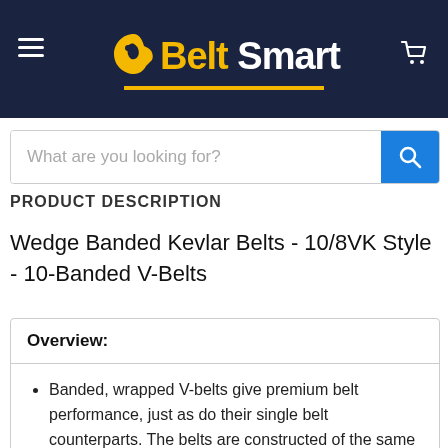[Figure (logo): Belt Smart logo with yellow headphone/tag icon and yellow+white text on dark navy background, with hamburger menu icon on left and cart icon on right]
[Figure (screenshot): Search bar with placeholder text 'What are you looking for?' and blue search button]
PRODUCT DESCRIPTION
Wedge Banded Kevlar Belts - 10/8VK Style - 10-Banded V-Belts
Overview:
Banded, wrapped V-belts give premium belt performance, just as do their single belt counterparts. The belts are constructed of the same